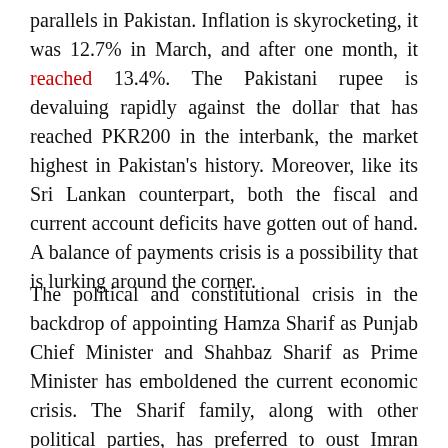parallels in Pakistan. Inflation is skyrocketing, it was 12.7% in March, and after one month, it reached 13.4%. The Pakistani rupee is devaluing rapidly against the dollar that has reached PKR200 in the interbank, the market highest in Pakistan's history. Moreover, like its Sri Lankan counterpart, both the fiscal and current account deficits have gotten out of hand. A balance of payments crisis is a possibility that is lurking around the corner.
The political and constitutional crisis in the backdrop of appointing Hamza Sharif as Punjab Chief Minister and Shahbaz Sharif as Prime Minister has emboldened the current economic crisis. The Sharif family, along with other political parties, has preferred to oust Imran Khan. Their action against the former government has acted as a catalyst in the current economic downturn. For their political interest, they have put the nation's economic